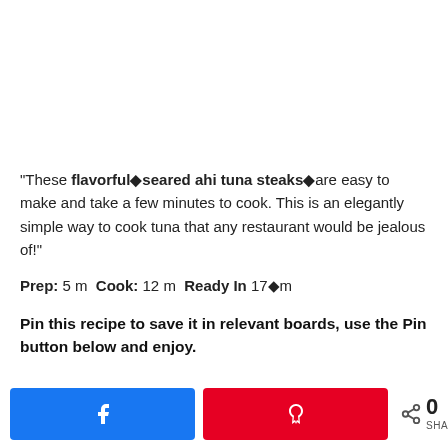“These flavorful�seared ahi tuna steaks�are easy to make and take a few minutes to cook. This is an elegantly simple way to cook tuna that any restaurant would be jealous of!”
Prep: 5 m Cook: 12 m Ready In 17�m
Pin this recipe to save it in relevant boards, use the Pin button below and enjoy.
[Figure (other): Social sharing bar with Facebook button, Pinterest button, and share count showing 0 SHARES]